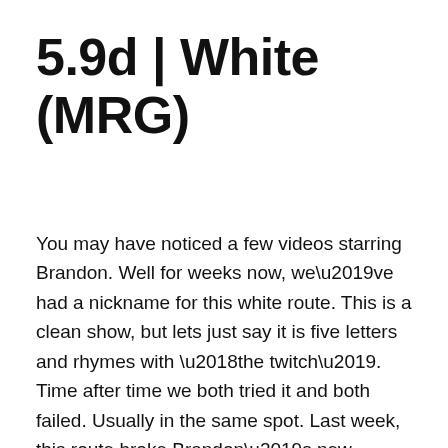5.9d | White (MRG)
You may have noticed a few videos starring Brandon. Well for weeks now, we’ve had a nickname for this white route. This is a clean show, but lets just say it is five letters and rhymes with ‘the twitch’. Time after time we both tried it and both failed. Usually in the same spot. Last week, this route broke Brandon’s new beaner. Well he has since defeated it, but until today, I hadn’t had a chance to send this mean old bitty.